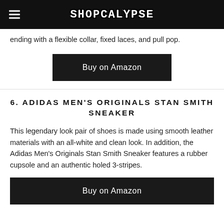SHOPCALYPSE
ending with a flexible collar, fixed laces, and pull pop.
Buy on Amazon
6. ADIDAS MEN'S ORIGINALS STAN SMITH SNEAKER
This legendary look pair of shoes is made using smooth leather materials with an all-white and clean look. In addition, the Adidas Men's Originals Stan Smith Sneaker features a rubber cupsole and an authentic holed 3-stripes.
Buy on Amazon